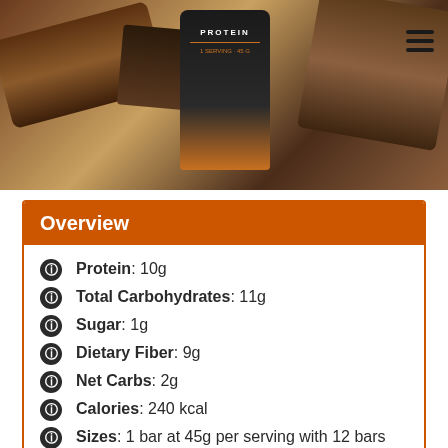[Figure (photo): Photo of protein bars and packaging — chocolate-covered protein bars with a dark orange and black branded package labeled PROTEIN.]
Overview
Protein: 10g
Total Carbohydrates: 11g
Sugar: 1g
Dietary Fiber: 9g
Net Carbs: 2g
Calories: 240 kcal
Sizes: 1 bar at 45g per serving with 12 bars per box